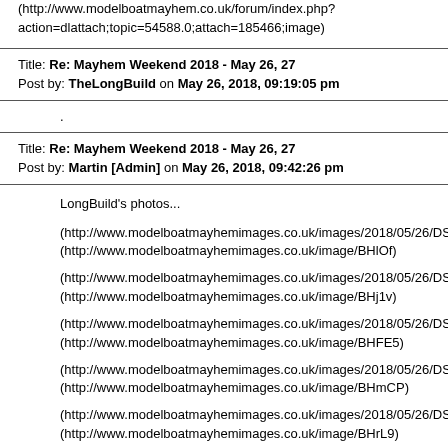(http://www.modelboatmayhem.co.uk/forum/index.php?action=dlattach;topic=54588.0;attach=185466;image)
Title: Re: Mayhem Weekend 2018 - May 26, 27
Post by: TheLongBuild on May 26, 2018, 09:19:05 pm
.
Title: Re: Mayhem Weekend 2018 - May 26, 27
Post by: Martin [Admin] on May 26, 2018, 09:42:26 pm
LongBuild's photos...
(http://www.modelboatmayhemimages.co.uk/images/2018/05/26/DSCF5
(http://www.modelboatmayhemimages.co.uk/image/BHlOf)
(http://www.modelboatmayhemimages.co.uk/images/2018/05/26/DSCF5
(http://www.modelboatmayhemimages.co.uk/image/BHj1v)
(http://www.modelboatmayhemimages.co.uk/images/2018/05/26/DSCF5
(http://www.modelboatmayhemimages.co.uk/image/BHFE5)
(http://www.modelboatmayhemimages.co.uk/images/2018/05/26/DSCF5
(http://www.modelboatmayhemimages.co.uk/image/BHmCP)
(http://www.modelboatmayhemimages.co.uk/images/2018/05/26/DSCF5
(http://www.modelboatmayhemimages.co.uk/image/BHrL9)